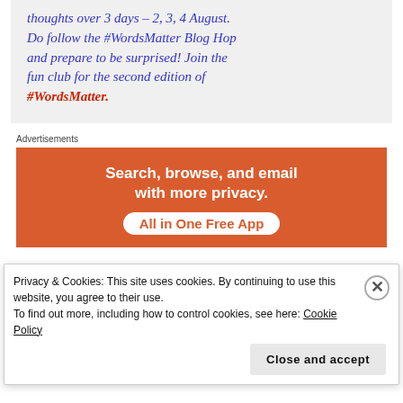thoughts over 3 days – 2, 3, 4 August. Do follow the #WordsMatter Blog Hop and prepare to be surprised! Join the fun club for the second edition of #WordsMatter.
Advertisements
[Figure (other): Orange advertisement banner: 'Search, browse, and email with more privacy. All in One Free App']
Privacy & Cookies: This site uses cookies. By continuing to use this website, you agree to their use. To find out more, including how to control cookies, see here: Cookie Policy
Close and accept